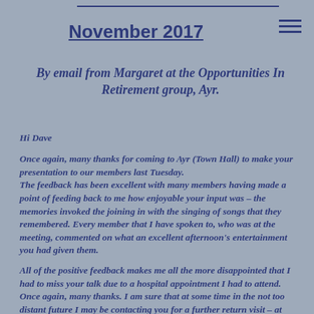November 2017
By email from Margaret at the Opportunities In Retirement group, Ayr.
Hi Dave
Once again, many thanks for coming to Ayr (Town Hall) to make your presentation to our members last Tuesday.
The feedback has been excellent with many members having made a point of feeding back to me how enjoyable your input was – the memories invoked the joining in with the singing of songs that they remembered. Every member that I have spoken to, who was at the meeting, commented on what an excellent afternoon's entertainment you had given them.
All of the positive feedback makes me all the more disappointed that I had to miss your talk due to a hospital appointment I had to attend. Once again, many thanks. I am sure that at some time in the not too distant future I may be contacting you for a further return visit – at